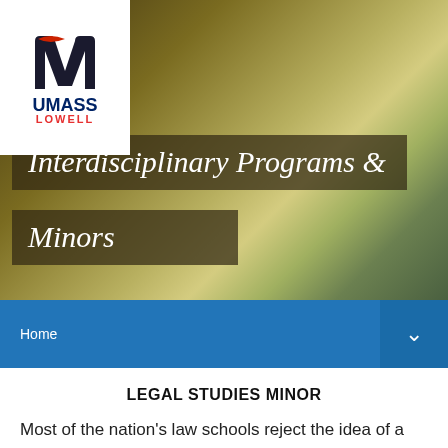[Figure (logo): UMass Lowell university logo — stylized M mark with UMASS LOWELL text]
SEARCH  MENU
Interdisciplinary Programs & Minors
Home
LEGAL STUDIES MINOR
Most of the nation's law schools reject the idea of a rigid pre-law curriculum as a means of preparing